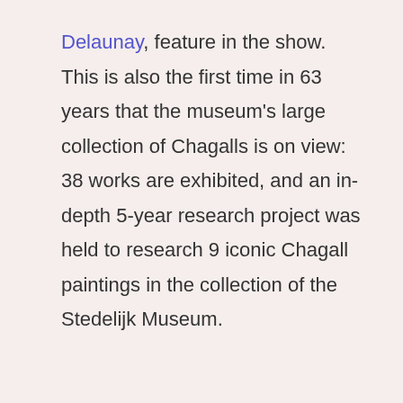Delaunay, feature in the show. This is also the first time in 63 years that the museum's large collection of Chagalls is on view: 38 works are exhibited, and an in-depth 5-year research project was held to research 9 iconic Chagall paintings in the collection of the Stedelijk Museum.